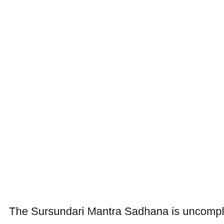The Sursundari Mantra Sadhana is uncomplicated